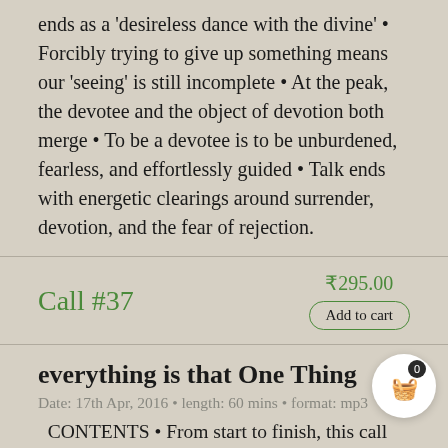ends as a 'desireless dance with the divine' • Forcibly trying to give up something means our 'seeing' is still incomplete • At the peak, the devotee and the object of devotion both merge • To be a devotee is to be unburdened, fearless, and effortlessly guided • Talk ends with energetic clearings around surrender, devotion, and the fear of rejection.
Call #37
₹295.00
Add to cart
everything is that One Thing
Date: 17th Apr, 2016 • length: 60 mins • format: mp3
CONTENTS • From start to finish, this call has a deep, silent, meditative energy • Returning to the 'home space' • All seeking takes us further